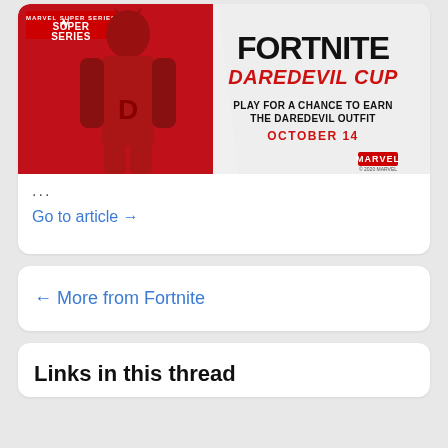[Figure (illustration): Fortnite Daredevil Cup promotional image. Marvel Super Series logo top left. Daredevil character in red suit on left side. Text on right: FORTNITE in large bold black letters, DAREDEVIL CUP in red bold italic, PLAY FOR A CHANCE TO EARN THE DAREDEVIL OUTFIT, OCTOBER 14 in red. Marvel logo bottom right with copyright text.]
...
Go to article →
← More from Fortnite
Links in this thread